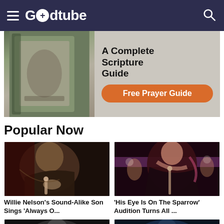Godtube
[Figure (photo): Advertisement banner for a Scripture guide and free prayer guide with an orange button]
Popular Now
[Figure (photo): Willie Nelson's Sound-Alike Son Sings 'Always O...' - man singing at microphone]
Willie Nelson's Sound-Alike Son Sings 'Always O...
[Figure (photo): 'His Eye Is On The Sparrow' Audition Turns All ... - woman singing on stage]
'His Eye Is On The Sparrow' Audition Turns All ...
[Figure (photo): Video thumbnail - bottom left, partial]
[Figure (photo): Video thumbnail - bottom right, partial]